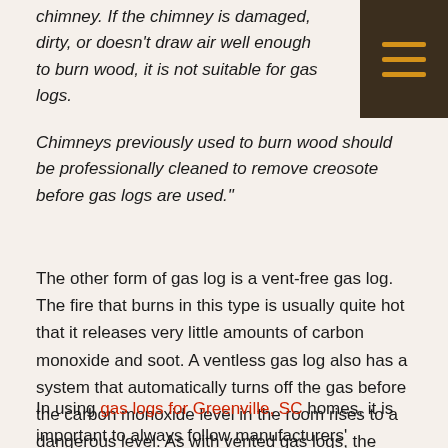chimney. If the chimney is damaged, dirty, or doesn't draw air well enough to burn wood, it is not suitable for gas logs.
Chimneys previously used to burn wood should be professionally cleaned to remove creosote before gas logs are used."
The other form of gas log is a vent-free gas log. The fire that burns in this type is usually quite hot that it releases very little amounts of carbon monoxide and soot. A ventless gas log also has a system that automatically turns off the gas before the carbon monoxide level in the room rises to a dangerous level. As with vented gas logs, the ventless system should also be kept away from easily combustible objects, and should not be left unattended.
In using gas logs for Greenville, SC homes, it is important to always follow manufacturers'